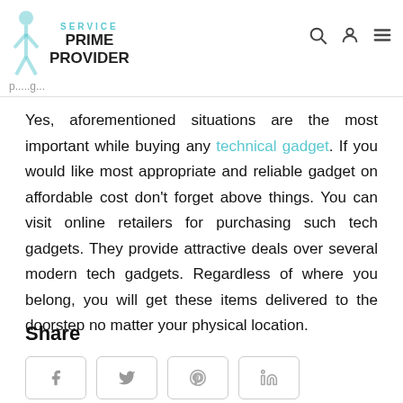PRIME SERVICE PROVIDER
Yes, aforementioned situations are the most important while buying any technical gadget. If you would like most appropriate and reliable gadget on affordable cost don't forget above things. You can visit online retailers for purchasing such tech gadgets. They provide attractive deals over several modern tech gadgets. Regardless of where you belong, you will get these items delivered to the doorstep no matter your physical location.
Share